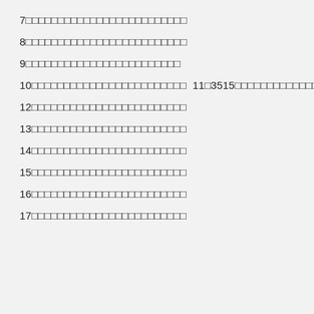7□□□□□□□□□□□□□□□□□□□□□□□□□
8□□□□□□□□□□□□□□□□□□□□□□□□□
9□□□□□□□□□□□□□□□□□□□□□□□□
10□□□□□□□□□□□□□□□□□□□□□□□□  11□3515□□□□□□□□□□□□□□□□□□□□□□□□□
12□□□□□□□□□□□□□□□□□□□□□□□□
13□□□□□□□□□□□□□□□□□□□□□□□□
14□□□□□□□□□□□□□□□□□□□□□□□□
15□□□□□□□□□□□□□□□□□□□□□□□□
16□□□□□□□□□□□□□□□□□□□□□□□□
17□□□□□□□□□□□□□□□□□□□□□□□□